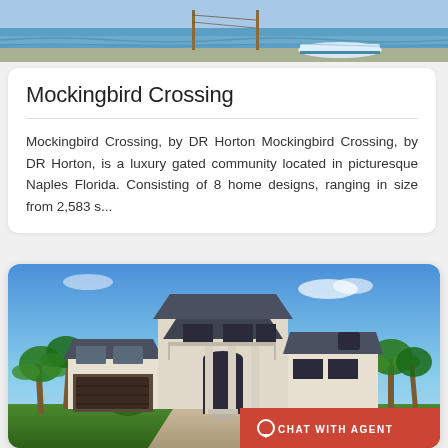[Figure (photo): Top strip of a beach scene with water, sand, and a small boat visible]
Mockingbird Crossing
Mockingbird Crossing, by DR Horton Mockingbird Crossing, by DR Horton, is a luxury gated community located in picturesque Naples Florida. Consisting of 8 home designs, ranging in size from 2,583 s...
[Figure (photo): Luxury large two-story home with palm trees, blue sky, dark roof, large garage, and a 'Chat With Agent' button overlay at bottom right]